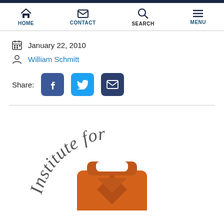HOME | CONTACT | SEARCH | MENU
January 22, 2010
William Schmitt
Share:
[Figure (logo): Institute for logo with orange briefcase/graduation cap icon and arched text reading 'Institute for']